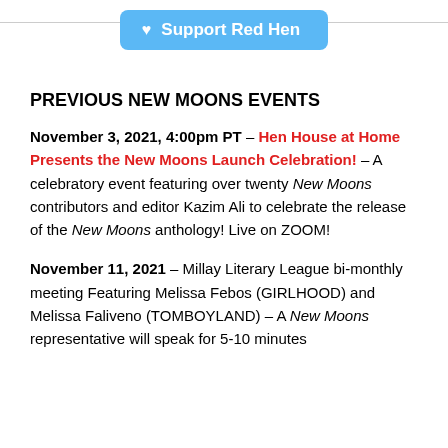Support Red Hen
PREVIOUS NEW MOONS EVENTS
November 3, 2021, 4:00pm PT – Hen House at Home Presents the New Moons Launch Celebration! – A celebratory event featuring over twenty New Moons contributors and editor Kazim Ali to celebrate the release of the New Moons anthology! Live on ZOOM!
November 11, 2021 – Millay Literary League bi-monthly meeting Featuring Melissa Febos (GIRLHOOD) and Melissa Faliveno (TOMBOYLAND) – A New Moons representative will speak for 5-10 minutes